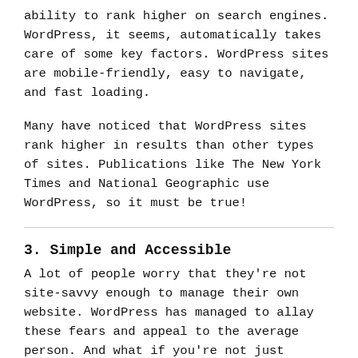ability to rank higher on search engines. WordPress, it seems, automatically takes care of some key factors. WordPress sites are mobile-friendly, easy to navigate, and fast loading.
Many have noticed that WordPress sites rank higher in results than other types of sites. Publications like The New York Times and National Geographic use WordPress, so it must be true!
3. Simple and Accessible
A lot of people worry that they're not site-savvy enough to manage their own website. WordPress has managed to allay these fears and appeal to the average person. And what if you're not just average when it comes to tech, but also really, really busy? That's the beauty of WordPress.